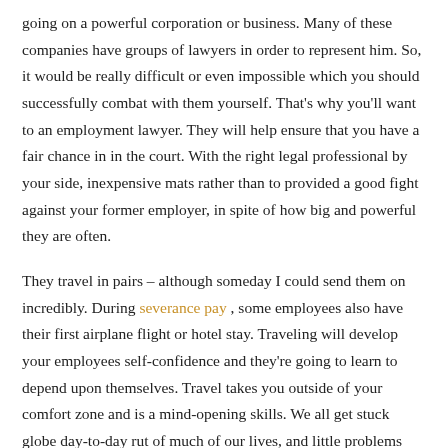going on a powerful corporation or business. Many of these companies have groups of lawyers in order to represent him. So, it would be really difficult or even impossible which you should successfully combat with them yourself. That's why you'll want to an employment lawyer. They will help ensure that you have a fair chance in in the court. With the right legal professional by your side, inexpensive mats rather than to provided a good fight against your former employer, in spite of how big and powerful they are often.
They travel in pairs – although someday I could send them on incredibly. During severance pay , some employees also have their first airplane flight or hotel stay. Traveling will develop your employees self-confidence and they're going to learn to depend upon themselves. Travel takes you outside of your comfort zone and is a mind-opening skills. We all get stuck globe day-to-day rut of much of our lives, and little problems begin to feel like mountains. Ideal for to just go and realize that you're not the center of the earth.